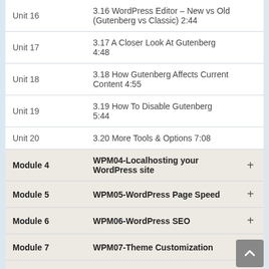| Unit/Module | Lesson |  |
| --- | --- | --- |
| Unit 16 | 3.16 WordPress Editor – New vs Old (Gutenberg vs Classic) 2:44 |  |
| Unit 17 | 3.17 A Closer Look At Gutenberg 4:48 |  |
| Unit 18 | 3.18 How Gutenberg Affects Current Content 4:55 |  |
| Unit 19 | 3.19 How To Disable Gutenberg 5:44 |  |
| Unit 20 | 3.20 More Tools & Options 7:08 |  |
| Module 4 | WPM04-Localhosting your WordPress site | + |
| Module 5 | WPM05-WordPress Page Speed | + |
| Module 6 | WPM06-WordPress SEO | + |
| Module 7 | WPM07-Theme Customization | + |
| Module 8 | WPM08-WordPress Forum setup | + |
| Module 9 | WPM09-WordPress Plugins | + |
| Module 10 | WPM10-WordPress Multisite | + |